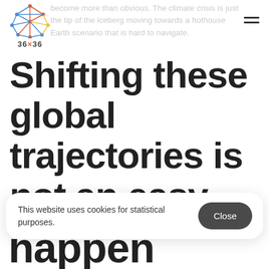36×36 logo and navigation
become more than obvious. The climate crisis is just the tip of the iceberg moving towards a hothouse Earth scenario that is hard to navigate.
Shifting these global trajectories is not an easy task, yet it happen much
This website uses cookies for statistical purposes.